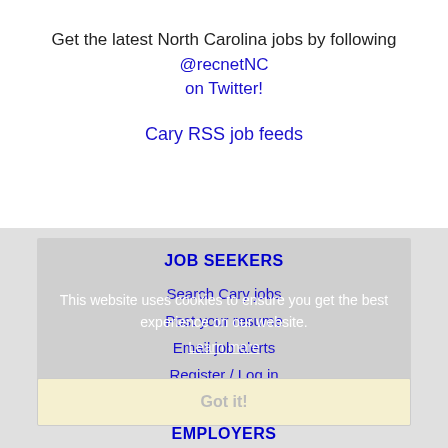Get the latest North Carolina jobs by following @recnetNC on Twitter!
Cary RSS job feeds
JOB SEEKERS
Search Cary jobs
Post your resume
Email job alerts
Register / Log in
This website uses cookies to ensure you get the best experience on our website.
Learn more
Got it!
EMPLOYERS